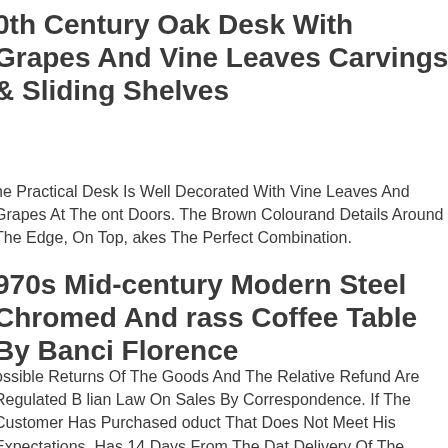0th Century Oak Desk With Grapes And Vine Leaves Carvings & Sliding Shelves
he Practical Desk Is Well Decorated With Vine Leaves And Grapes At The ont Doors. The Brown Colourand Details Around The Edge, On Top, akes The Perfect Combination.
970s Mid-century Modern Steel Chromed And rass Coffee Table By Banci Florence
ossible Returns Of The Goods And The Relative Refund Are Regulated B lian Law On Sales By Correspondence. If The Customer Has Purchased oduct That Does Not Meet His Expectations, Has 14 Days From The Dat Delivery Of The Goods, To Exercise The "right Of Withdrawal", Or The ossibility Of Returning The Product By Communicating Its Intention To Me egistered Mail With Return Receipt. The Holder Makes Notice That The ossible Non-communication Or Incorrect Communication Of One Of The andatory Information Has The Consequence The Impossibility Of The older To Guarantee The Congruity Of The Treatment To The Contractual